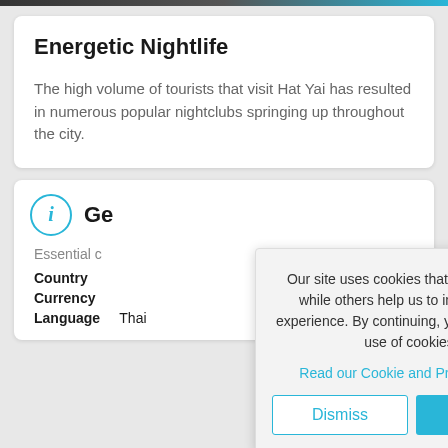Energetic Nightlife
The high volume of tourists that visit Hat Yai has resulted in numerous popular nightclubs springing up throughout the city.
Ge[neral Information]
Essential c[ountry information]
Country
Currency
Language   Thai
Our site uses cookies that are essential, while others help us to improve your experience. By continuing, you agree to our use of cookies.
Read our Cookie and Privacy Policy
Dismiss
Got it!